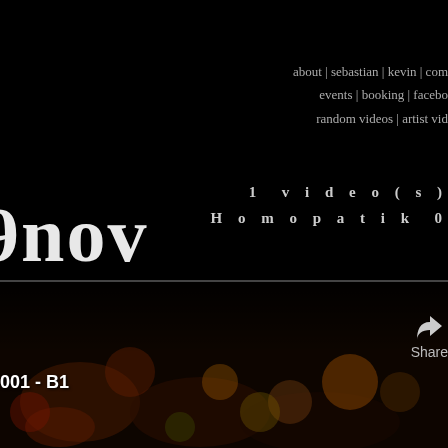9nov
about | sebastian | kevin | com  events | booking | facebo  random videos | artist vid
1 v i d e o ( s )  H o m o p a t i k  0
001 - B1
Share